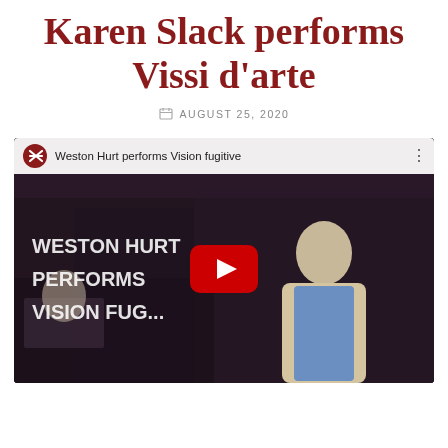Karen Slack performs Vissi d'arte
AUGUST 25, 2020
[Figure (screenshot): YouTube video thumbnail showing 'Weston Hurt performs Vision fugitive' with a man in a beige jacket and blue shirt singing, overlaid text reads 'WESTON HURT PERFORMS VISION FUG...' with a red YouTube play button in the center]